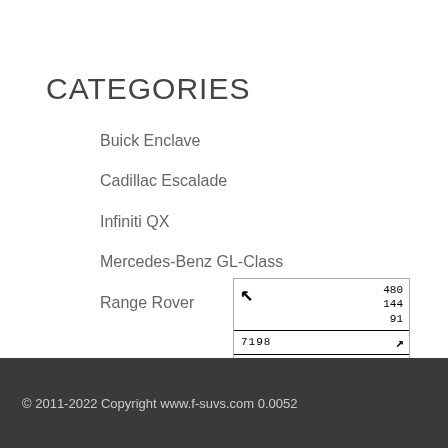CATEGORIES
Buick Enclave
Cadillac Escalade
Infiniti QX
Mercedes-Benz GL-Class
Range Rover
[Figure (other): A small widget/badge showing numbers: 480, 144, 91 in top right; arrow pointing top-left; two rows showing '7198' with right arrow and '76' with right arrow]
© 2011-2022 Copyright www.f-suvs.com 0.0052